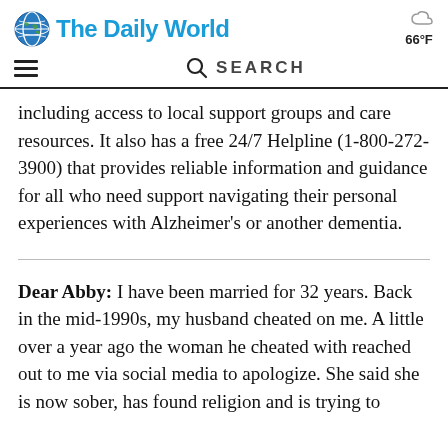The Daily World
including access to local support groups and care resources. It also has a free 24/7 Helpline (1-800-272-3900) that provides reliable information and guidance for all who need support navigating their personal experiences with Alzheimer's or another dementia.
Dear Abby: I have been married for 32 years. Back in the mid-1990s, my husband cheated on me. A little over a year ago the woman he cheated with reached out to me via social media to apologize. She said she is now sober, has found religion and is trying to